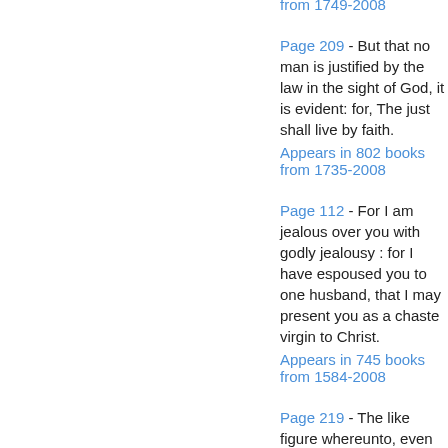from 1749-2008
Page 209 - But that no man is justified by the law in the sight of God, it is evident: for, The just shall live by faith. Appears in 802 books from 1735-2008
Page 112 - For I am jealous over you with godly jealousy : for I have espoused you to one husband, that I may present you as a chaste virgin to Christ. Appears in 745 books from 1584-2008
Page 219 - The like figure whereunto, even baptism, doth also now